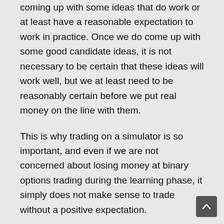coming up with some ideas that do work or at least have a reasonable expectation to work in practice. Once we do come up with some good candidate ideas, it is not necessary to be certain that these ideas will work well, but we at least need to be reasonably certain before we put real money on the line with them.
This is why trading on a simulator is so important, and even if we are not concerned about losing money at binary options trading during the learning phase, it simply does not make sense to trade without a positive expectation.
When we do this, we are simply giving money away, and giving it to our brokers. Our brokers will love us for this but we need to be concerned about ourselves and realize that we are looking to make money from